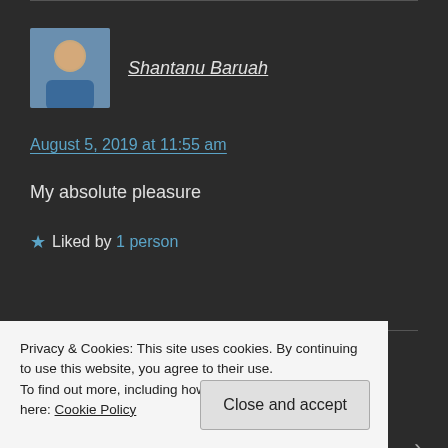Shantanu Baruah
August 5, 2019 at 11:55 am
My absolute pleasure
★ Liked by 1 person
Abhishek nathania
Privacy & Cookies: This site uses cookies. By continuing to use this website, you agree to their use. To find out more, including how to control cookies, see here: Cookie Policy
Close and accept